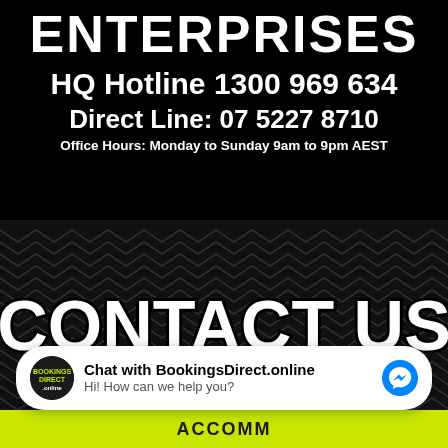ENTERPRISES
HQ Hotline 1300 969 634
Direct Line: 07 5227 8710
Office Hours: Monday to Sunday 9am to 9pm AEST
[Figure (infographic): Dark chevron/zigzag pattern background with large CONTACT US text in white with black outline]
Chat with BookingsDirect.online
Hi! How can we help you?